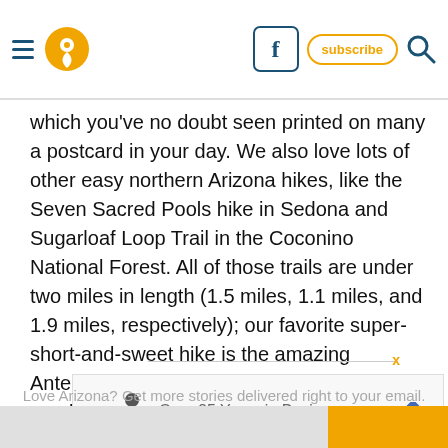Navigation header with hamburger menu, location icon, Facebook button, subscribe button, and search icon
which you’ve no doubt seen printed on many a postcard in your day. We also love lots of other easy northern Arizona hikes, like the Seven Sacred Pools hike in Sedona and Sugarloaf Loop Trail in the Coconino National Forest. All of those trails are under two miles in length (1.5 miles, 1.1 miles, and 1.9 miles, respectively); our favorite super-short-and-sweet hike is the amazing Antelope Canyon Trail, which is often overlooked by visitors in favor of much more famous canyons nearby. Need some more ideas? Check out this list of some great beginner-friendly hikes in Arizona.
[Figure (other): Advertisement banner: Over 25 Years in Business. On Time and Honest]
Love Arizona? Get more stories delivered right to your email.